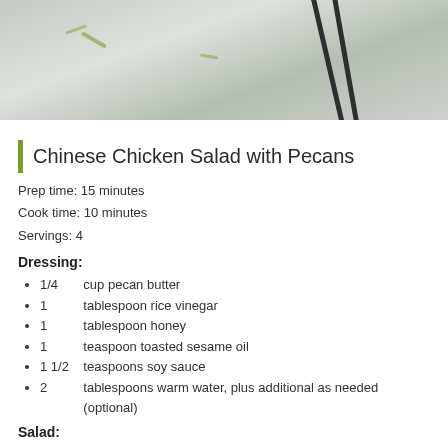[Figure (photo): Top-down photo of a salad dish with chopsticks on a light background]
Chinese Chicken Salad with Pecans
Prep time: 15 minutes
Cook time: 10 minutes
Servings: 4
Dressing:
1/4   cup pecan butter
1        tablespoon rice vinegar
1        tablespoon honey
1        teaspoon toasted sesame oil
1 1/2   teaspoons soy sauce
2        tablespoons warm water, plus additional as needed (optional)
Salad:
4        ounces dried thin rice noodles
cold water